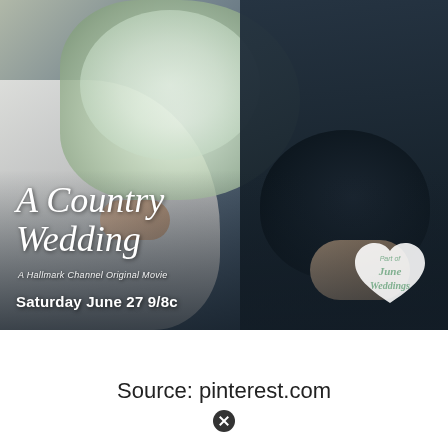[Figure (photo): Movie promotional image for 'A Country Wedding', a Hallmark Channel Original Movie. Shows a bride holding a white bouquet with baby's breath and a groom in a dark suit holding a dark hat. Text overlay reads: 'A Country Wedding', 'A Hallmark Channel Original Movie', 'Saturday June 27 9/8c'. A heart-shaped badge in the bottom right reads 'Part of June Weddings'.]
Source: pinterest.com